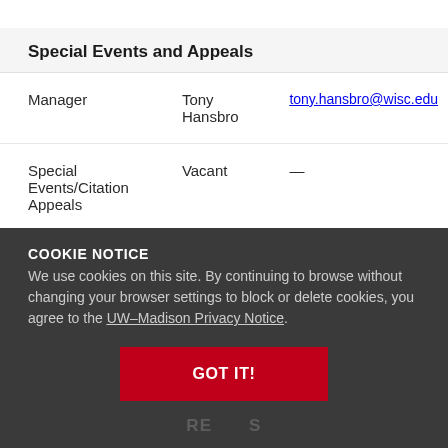Special Events and Appeals
| Role | Name | Contact |
| --- | --- | --- |
| Manager | Tony Hansbro | tony.hansbro@wisc.edu |
| Special Events/Citation Appeals | Vacant | — |
COOKIE NOTICE
We use cookies on this site. By continuing to browse without changing your browser settings to block or delete cookies, you agree to the UW–Madison Privacy Notice.
GOT IT!